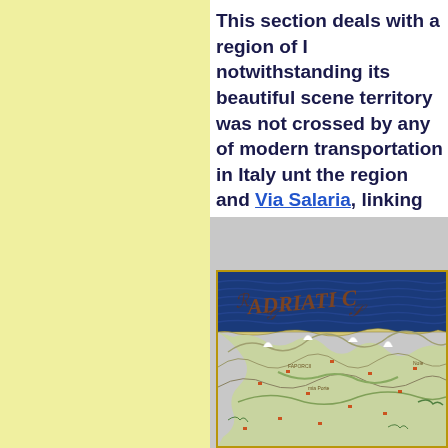This section deals with a region of Italy, notwithstanding its beautiful scenery, its territory was not crossed by any of the modern transportation in Italy until... the region and Via Salaria, linking ...
[Figure (map): An antique cartographic map showing a mountainous Italian region with the Adriatic Sea (labeled in ornate script 'ADRIATIC' or similar) in the upper portion in dark blue with decorative lettering, and a detailed topographic view of mountain terrain below with settlements marked in red, rivers, and valleys rendered in a Renaissance cartographic style.]